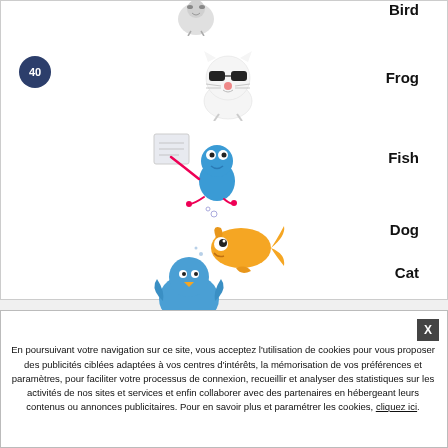[Figure (illustration): Partially visible bird cartoon at top, clipped]
Bird
[Figure (illustration): White cartoon cat/dog wearing sunglasses]
Frog
[Figure (illustration): Blue frog holding a sign/paper]
Fish
[Figure (illustration): Orange cartoon fish]
Dog
[Figure (illustration): Blue round cartoon bird]
Cat
40
En poursuivant votre navigation sur ce site, vous acceptez l'utilisation de cookies pour vous proposer des publicités ciblées adaptées à vos centres d'intérêts, la mémorisation de vos préférences et paramètres, pour faciliter votre processus de connexion, recueillir et analyser des statistiques sur les activités de nos sites et services et enfin collaborer avec des partenaires en hébergeant leurs contenus ou annonces publicitaires. Pour en savoir plus et paramétrer les cookies, cliquez ici.